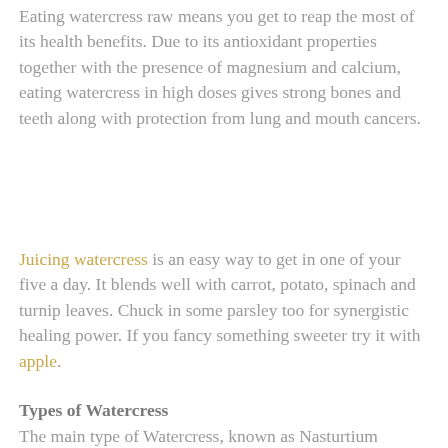Eating watercress raw means you get to reap the most of its health benefits. Due to its antioxidant properties together with the presence of magnesium and calcium, eating watercress in high doses gives strong bones and teeth along with protection from lung and mouth cancers.
Juicing watercress is an easy way to get in one of your five a day. It blends well with carrot, potato, spinach and turnip leaves. Chuck in some parsley too for synergistic healing power. If you fancy something sweeter try it with apple.
Types of Watercress
The main type of Watercress, known as Nasturtium officinale, can be readily found